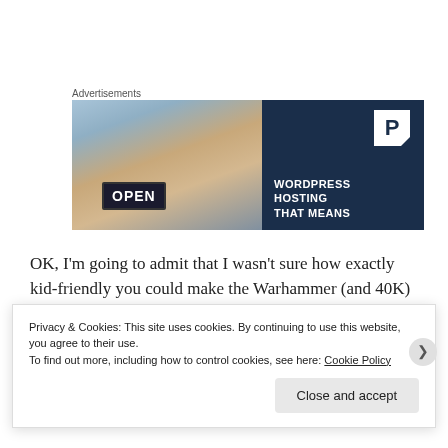Advertisements
[Figure (screenshot): Advertisement banner for WordPress hosting showing a smiling woman holding an OPEN sign on the left (photo) and a dark navy right panel with a P logo and text 'WORDPRESS HOSTING THAT MEANS']
OK, I'm going to admit that I wasn't sure how exactly kid-friendly you could make the Warhammer (and 40K)
Privacy & Cookies: This site uses cookies. By continuing to use this website, you agree to their use.
To find out more, including how to control cookies, see here: Cookie Policy